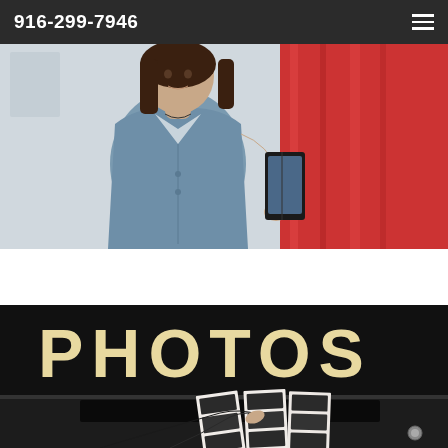916-299-7946
[Figure (photo): Woman in denim jacket holding a tablet/phone, standing in front of a red curtain backdrop, photo booth setting]
[Figure (photo): Close-up of a photo booth machine with 'PHOTOS' text on black background, hand retrieving printed photo strips]